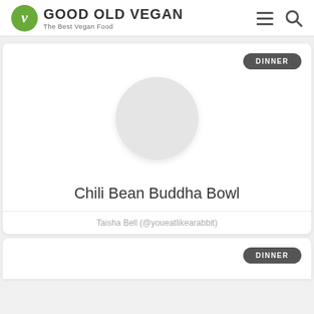GOOD OLD VEGAN — The Best Vegan Food
[Figure (illustration): Placeholder circle image for Chili Bean Buddha Bowl recipe card with DINNER badge]
Chili Bean Buddha Bowl
Taisha Bell (@youeatlikearabbit)
[Figure (illustration): Second recipe card partial view with DINNER badge]